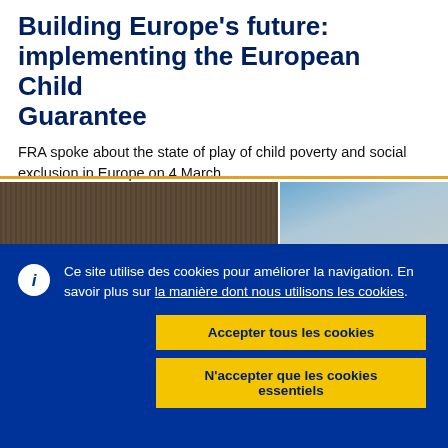Building Europe's future: implementing the European Child Guarantee
FRA spoke about the state of play of child poverty and social exclusion in Europe on 4 March.
[Figure (photo): Partial photograph showing a textured background on the left and a blue surface on the right, cropped by a cookie consent banner overlay.]
Ce site utilise des cookies pour améliorer la navigation. En savoir plus sur la manière dont nous utilisons les cookies.
Accepter tous les cookies
N'accepter que les cookies essentiels